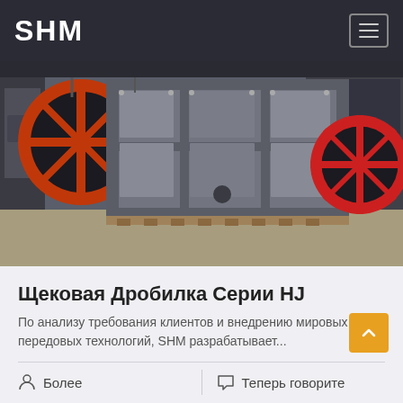SHM
[Figure (photo): Industrial jaw crusher machine (HJ series) in a factory setting, grey steel frame on wooden pallets, orange flywheel visible on left and red flywheel on right background]
Щековая Дробилка Серии HJ
По анализу требования клиентов и внедрению мировых передовых технологий, SHM разрабатывает...
Более
Теперь говорите